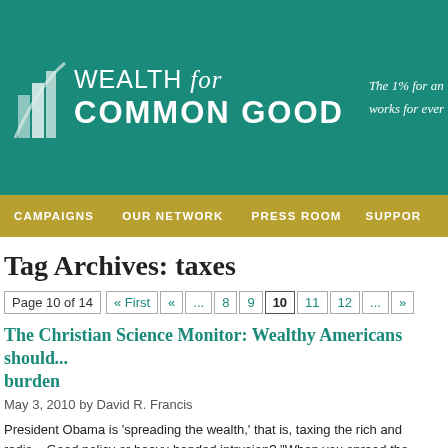[Figure (logo): Wealth for Common Good website header with teal background, logo with building icon, site name, and tagline 'The 1% for an... works for ever...']
CAMPAIGNS   OUR NETWORK   PRESS ROOM   SUPPORT
Tag Archives: taxes
Page 10 of 14  « First  «  ...  8  9  10  11  12  ...  »
The Christian Science Monitor: Wealthy Americans shoul... burden
May 3, 2010 by David R. Francis
President Obama is 'spreading the wealth,' that is, taxing the rich and redis... Good policy or heavy-handed intrusion? "When you spread the wealth aro... everybody," presidential candidate Barack Obama famously told an Ohio m...
Posted in In the News